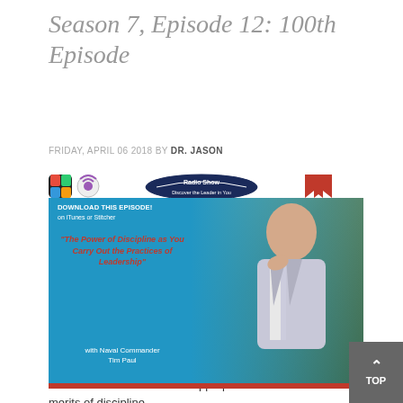Season 7, Episode 12: 100th Episode
FRIDAY, APRIL 06 2018 BY DR. JASON
[Figure (photo): Podcast episode promotional image for 'The Power of Discipline as You Carry Out the Practices of Leadership' with Naval Commander Tim Paul, featuring podcast icons, download call-to-action, and a man in a suit.]
Welcome to Season 7, Episode #12 of Discover the Leader in You!  This is the 100th episode of Discover the Leader in You™ and its appropriate to discuss the merits of discipline